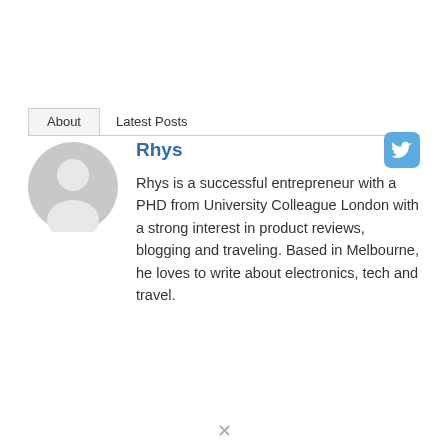About | Latest Posts
[Figure (illustration): Grey circular avatar placeholder with silhouette of a person]
Rhys
Rhys is a successful entrepreneur with a PHD from University Colleague London with a strong interest in product reviews, blogging and traveling. Based in Melbourne, he loves to write about electronics, tech and travel.